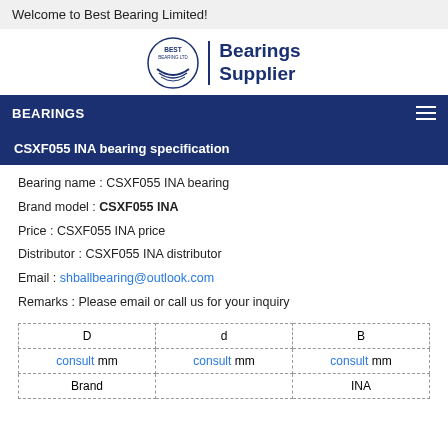Welcome to Best Bearing Limited!
[Figure (logo): Best Bearing Ltd logo circle with text 'Bearings Supplier']
BEARINGS
CSXF055 INA bearing specification
Bearing name : CSXF055 INA bearing
Brand model : CSXF055 INA
Price : CSXF055 INA price
Distributor : CSXF055 INA distributor
Email : shballbearing@outlook.com
Remarks : Please email or call us for your inquiry
| D | d | B |
| --- | --- | --- |
| consult mm | consult mm | consult mm |
| Brand |  | INA |